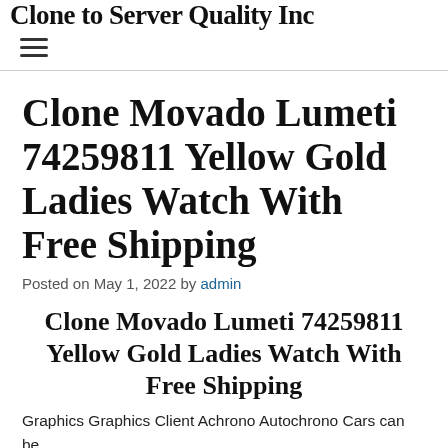Clone to Server Quality Inc
Clone Movado Lumeti 74259811 Yellow Gold Ladies Watch With Free Shipping
Posted on May 1, 2022 by admin
Clone Movado Lumeti 74259811 Yellow Gold Ladies Watch With Free Shipping
Graphics Graphics Client Achrono Autochrono Cars can be